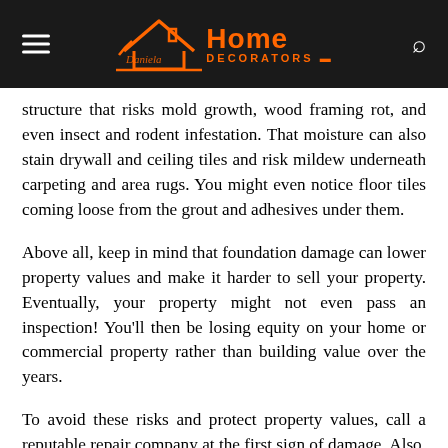Daniela Home Decorators
structure that risks mold growth, wood framing rot, and even insect and rodent infestation. That moisture can also stain drywall and ceiling tiles and risk mildew underneath carpeting and area rugs. You might even notice floor tiles coming loose from the grout and adhesives under them.
Above all, keep in mind that foundation damage can lower property values and make it harder to sell your property. Eventually, your property might not even pass an inspection! You’ll then be losing equity on your home or commercial property rather than building value over the years.
To avoid these risks and protect property values, call a reputable repair company at the first sign of damage. Also, ask your contractor about how to avoid future damage. This can include